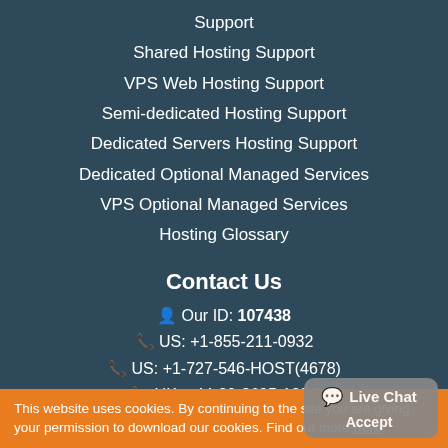Support
Shared Hosting Support
VPS Web Hosting Support
Semi-dedicated Hosting Support
Dedicated Servers Hosting Support
Dedicated Optional Managed Services
VPS Optional Managed Services
Hosting Glossary
Contact Us
Our ID: 107438
US: +1-855-211-0932
US: +1-727-546-HOST(4678)
UK: +44-20-3695-1294
AU: +61-2-8417-2372
phd[-at-]phdsigns.com
This website uses cookies. By continuing to the site you are giving your permission to download our cookies. Find out more here.